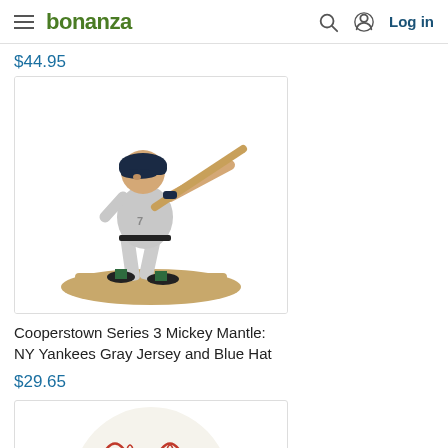bonanza — Log in
$44.95
[Figure (photo): McFarlane Cooperstown Series 3 Mickey Mantle figurine in NY Yankees gray jersey and blue hat, batting pose on sandy base]
Cooperstown Series 3 Mickey Mantle: NY Yankees Gray Jersey and Blue Hat
$29.65
[Figure (photo): Baseball (partial view), white with red stitching, visible top portion]